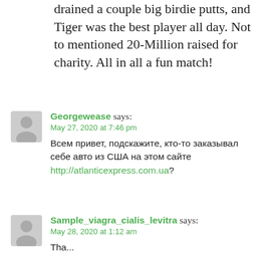drained a couple big birdie putts, and Tiger was the best player all day. Not to mentioned 20-Million raised for charity. All in all a fun match!
Georgewease says:
May 27, 2020 at 7:46 pm
Всем привет, подскажите, кто-то заказывал себе авто из США на этом сайте http://atlanticexpress.com.ua?
Sample_viagra_cialis_levitra says:
May 28, 2020 at 1:12 am
Tha...